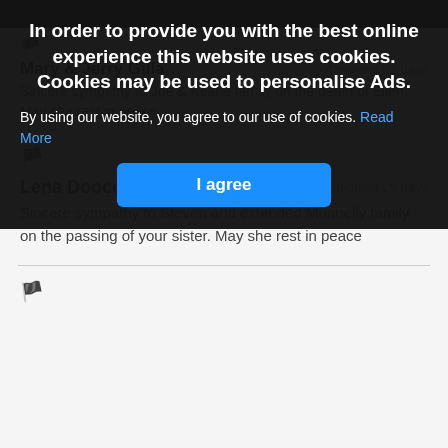[Figure (screenshot): Cookie consent overlay on a condolence/memorial website. The overlay contains bold white text: 'In order to provide you with the best online experience this website uses cookies. Cookies may be used to personalise Ads.' followed by body text about agreeing to cookie use with a 'Read More' link, and a blue 'I agree' button.]
Mary & Jerry Gilla[cut off]  ⊙4 months 22 days
Sincere sympathy to Joe & Keane family on the death of Ellen.
May she rest in peace.
Lena Doocey and family  ⊙ 4 months 28 days
Sincere sympathy to Steven and extended Munnelly family on the passing of your sister. May she rest in peace